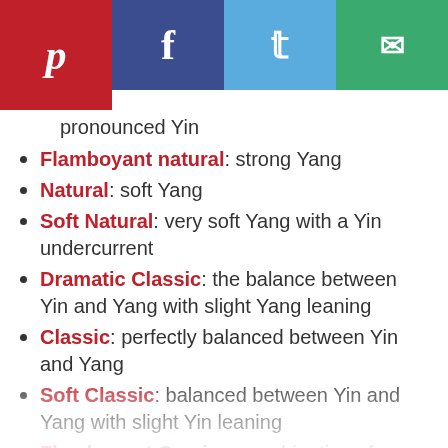[Figure (other): Social share bar with Pinterest (red), Facebook (blue), Twitter (light blue), and Email (green) icons]
pronounced Yin
Flamboyant natural: strong Yang
Natural: soft Yang
Soft Natural: very soft Yang with a Yin undercurrent
Dramatic Classic: the balance between Yin and Yang with slight Yang leaning
Classic: perfectly balanced between Yin and Yang
Soft Classic: balanced between Yin and Yang with slight Yin leaning
Flamboyant Gamine: combination of opposites with extra Yang